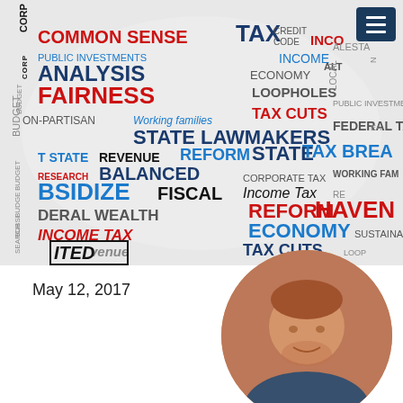[Figure (infographic): Word cloud in the shape of a United States map. Words include: COMMON SENSE, TAX, PUBLIC INVESTMENTS, CREDIT, CODE, INCOME, ANALYSIS, ECONOMY, FAIRNESS, LOOPHOLES, Working families, STATE LAWMAKERS, FEDERAL TAX, TAX CUTS, STATE, BUDGET, REVENUE, REFORM, STATE, TAX BREAK, RESEARCH, BALANCED, CORPORATE TAX, WORKING FAMILIES, BSIDIZE, FISCAL, Income Tax, REFORM, HAVEN, DERAL, WEALTH, ECONOMY, INCOME TAX, SUSTAINA, TAX CUTS, ECONOMY. Colors: red, dark blue, light blue, black.]
[Figure (logo): ITED logo in black bold italic text]
May 12, 2017
[Figure (photo): Circular headshot photo of a young man with reddish hair and beard, wearing a dark blue shirt, against a brick wall background]